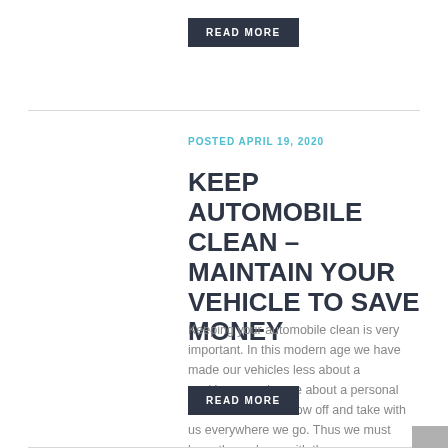READ MORE
POSTED APRIL 19, 2020
KEEP AUTOMOBILE CLEAN – MAINTAIN YOUR VEHICLE TO SAVE MONEY
Keeping your automobile clean is very important. In this modern age we have made our vehicles less about a workhorse and more about a personal item that we can show off and take with us everywhere we go. Thus we must keep them clean, with the...
READ MORE